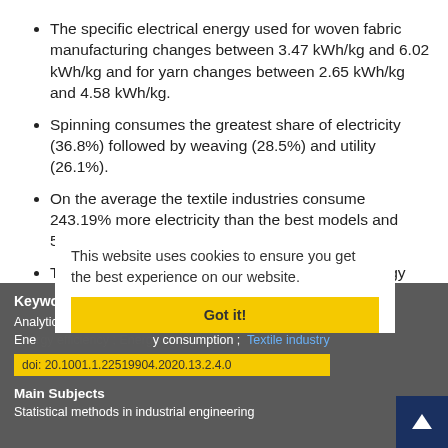The specific electrical energy used for woven fabric manufacturing changes between 3.47 kWh/kg and 6.02 kWh/kg and for yarn changes between 2.65 kWh/kg and 4.58 kWh/kg.
Spinning consumes the greatest share of electricity (36.8%) followed by weaving (28.5%) and utility (26.1%).
On the average the textile industries consume 243.19% more electricity than the best models and 53.8% than the outlier.
This shows how the sector suffers from poor energy management practice.
The sector face high production cost, poor product quality and uncomfortable working environment.
Keywords
Analytical cost modeling ; Energy cost-share ; Energy efficiency ; Energy consumption ; Textile industry
doi: 20.1001.1.22519904.2020.13.2.4.0
Main Subjects
Statistical methods in industrial engineering
This website uses cookies to ensure you get the best experience on our website.
Got it!